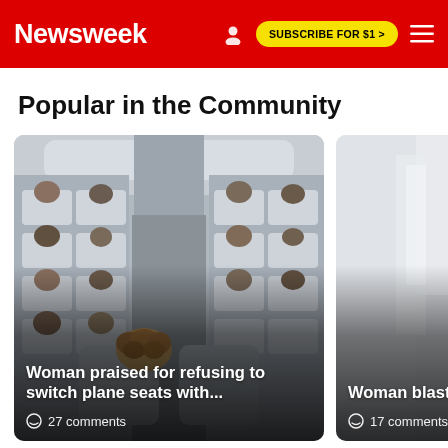Newsweek | SUBSCRIBE FOR $1 >
Popular in the Community
[Figure (photo): Airplane interior with passengers seated in rows, viewed from behind, showing airplane seats and overhead compartments]
Woman praised for refusing to switch plane seats with... 27 comments
[Figure (photo): Partial image showing a baby or young child, appears to be on an airplane or indoor setting]
Woman blasted sister and newb... 17 comments